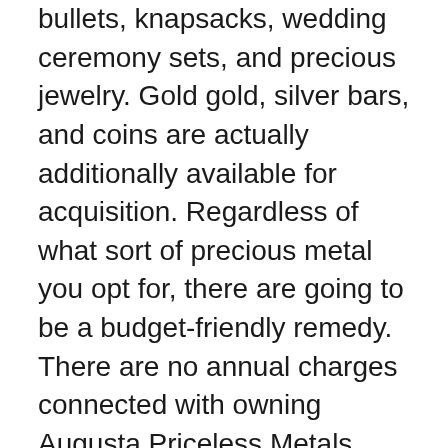bullets, knapsacks, wedding ceremony sets, and precious jewelry. Gold gold, silver bars, and coins are actually additionally available for acquisition. Regardless of what sort of precious metal you opt for, there are going to be a budget-friendly remedy. There are no annual charges connected with owning Augusta Priceless Metals.
Proofs: Evidence are just one of one of the most well-liked items offered by Augusta Precious Metals. Evidence are actually needed for every one of the finest gold companies. Proofs are actually likewise utilized for confirming platinum as well as palladium to retailers, as well as to purchasers that buy from on the internet outlets. There are no yearly costs related to